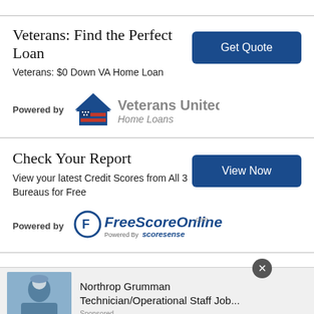Veterans: Find the Perfect Loan
Veterans: $0 Down VA Home Loan
[Figure (logo): Veterans United Home Loans logo with house icon and American flag stripes]
Check Your Report
View your latest Credit Scores from All 3 Bureaus for Free
[Figure (logo): FreeScoreOnline.com logo with circular icon, Powered by scoresense]
Home Insurance
FastQuote® From Farmers
[Figure (screenshot): Bottom overlay ad: Northrop Grumman Technician/Operational Staff Job... Sponsored, with person in lab gear image]